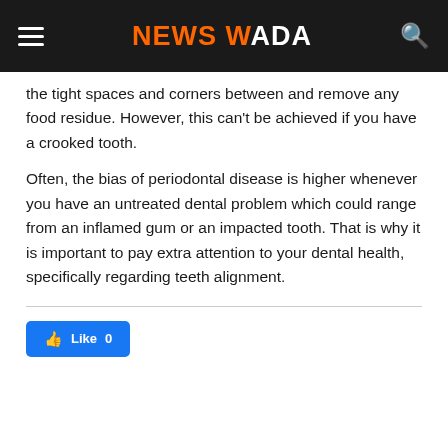NEWS WADA
the tight spaces and corners between and remove any food residue. However, this can't be achieved if you have a crooked tooth.
Often, the bias of periodontal disease is higher whenever you have an untreated dental problem which could range from an inflamed gum or an impacted tooth. That is why it is important to pay extra attention to your dental health, specifically regarding teeth alignment.